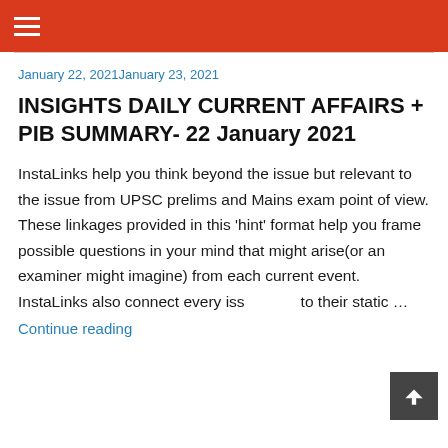≡
January 22, 2021January 23, 2021
INSIGHTS DAILY CURRENT AFFAIRS + PIB SUMMARY- 22 January 2021
InstaLinks help you think beyond the issue but relevant to the issue from UPSC prelims and Mains exam point of view. These linkages provided in this 'hint' format help you frame possible questions in your mind that might arise(or an examiner might imagine) from each current event. InstaLinks also connect every iss… to their static …
Continue reading